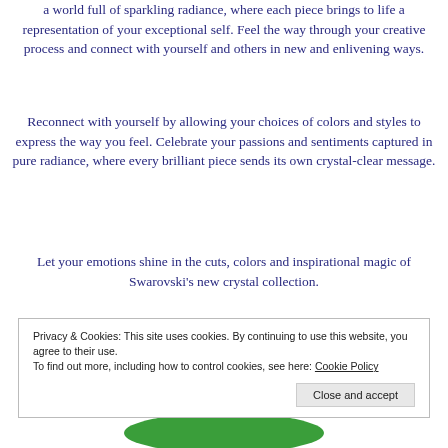a world full of sparkling radiance, where each piece brings to life a representation of your exceptional self. Feel the way through your creative process and connect with yourself and others in new and enlivening ways.
Reconnect with yourself by allowing your choices of colors and styles to express the way you feel. Celebrate your passions and sentiments captured in pure radiance, where every brilliant piece sends its own crystal-clear message.
Let your emotions shine in the cuts, colors and inspirational magic of Swarovski's new crystal collection.
Privacy & Cookies: This site uses cookies. By continuing to use this website, you agree to their use.
To find out more, including how to control cookies, see here: Cookie Policy
Close and accept